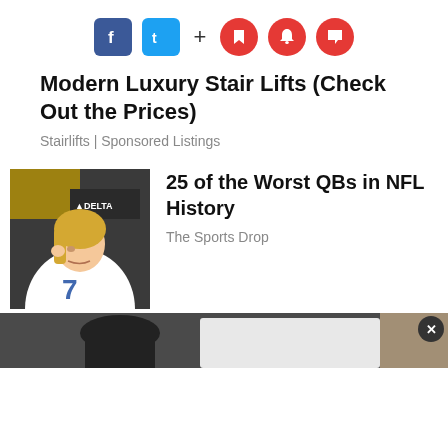[Figure (other): Social media share bar with Facebook (blue), Twitter (blue), plus sign, and three red circular icons (bookmark, notification bell, comment)]
Modern Luxury Stair Lifts (Check Out the Prices)
Stairlifts | Sponsored Listings
[Figure (photo): Photo of a young male NFL player wearing Indianapolis Colts #7 white jersey with long blonde hair, touching his ear, with a Delta logo sign in background]
25 of the Worst QBs in NFL History
The Sports Drop
[Figure (photo): Partial bottom strip image showing a person in dark clothing next to a light-colored vehicle, partially cropped]